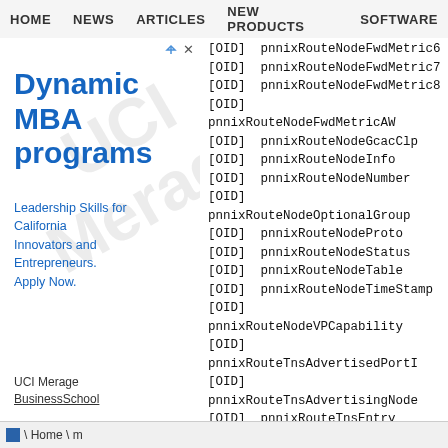HOME   NEWS   ARTICLES   NEW PRODUCTS   SOFTWARE
[Figure (other): Advertisement for UCI Merage Business School Dynamic MBA programs. Blue text on white background with watermark. Title: Dynamic MBA programs. Subtitle: Leadership Skills for California Innovators and Entrepreneurs. Apply Now. Institution: UCI Merage BusinessSchool]
[OID] pnnixRouteNodeFwdMetric6
[OID] pnnixRouteNodeFwdMetric7
[OID] pnnixRouteNodeFwdMetric8
[OID] pnnixRouteNodeFwdMetricAW
[OID] pnnixRouteNodeGcacClp
[OID] pnnixRouteNodeInfo
[OID] pnnixRouteNodeNumber
[OID] pnnixRouteNodeOptionalGroup
[OID] pnnixRouteNodeProto
[OID] pnnixRouteNodeStatus
[OID] pnnixRouteNodeTable
[OID] pnnixRouteNodeTimeStamp
[OID] pnnixRouteNodeVPCapability
[OID] pnnixRouteTnsAdvertisedPortI
[OID] pnnixRouteTnsAdvertisingNode
[OID] pnnixRouteTnsEntry
[OID] pnnixRouteTnsId
[OID] pnnixRouteTnsIfIndex
[OID] pnnixRouteTnsIndex
[OID] pnnixRouteTnsInfo
[OID] pnnixRouteTnsMetricsTag
[OID] pnnixRouteTnsOperStatus
[OID] pnnixRouteTnsOptionalGroup
[OID] pnnixRouteTnsOriginateAdvert
[OID] pnnixRouteTnsPlan
[OID] pnnixRouteTnsPnniScope
\  Home \ m